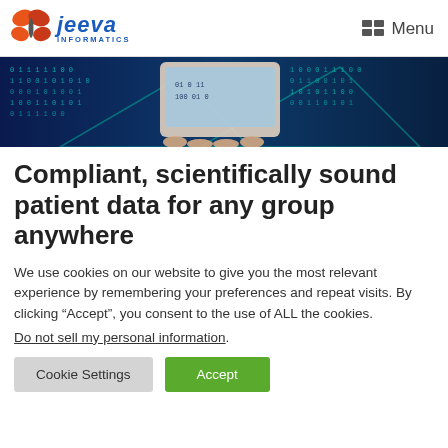[Figure (logo): Jeeva Informatics logo with orange/red butterfly icon and blue italic text 'jeeva' with 'INFORMATICS' below]
Menu
[Figure (photo): Banner image showing a hand holding a tablet device with digital binary code background in blue and teal colors]
Compliant, scientifically sound patient data for any group anywhere
We use cookies on our website to give you the most relevant experience by remembering your preferences and repeat visits. By clicking “Accept”, you consent to the use of ALL the cookies.
Do not sell my personal information.
Cookie Settings
Accept